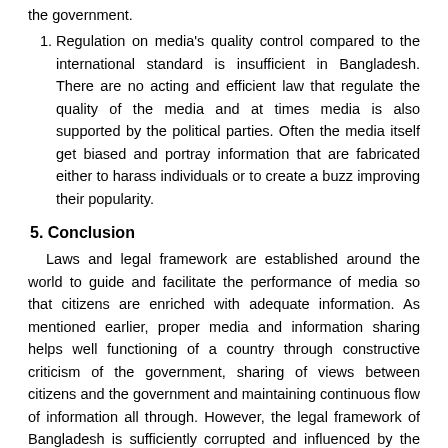the government.
Regulation on media's quality control compared to the international standard is insufficient in Bangladesh. There are no acting and efficient law that regulate the quality of the media and at times media is also supported by the political parties. Often the media itself get biased and portray information that are fabricated either to harass individuals or to create a buzz improving their popularity.
5. Conclusion
Laws and legal framework are established around the world to guide and facilitate the performance of media so that citizens are enriched with adequate information. As mentioned earlier, proper media and information sharing helps well functioning of a country through constructive criticism of the government, sharing of views between citizens and the government and maintaining continuous flow of information all through. However, the legal framework of Bangladesh is sufficiently corrupted and influenced by the government and political parties. The